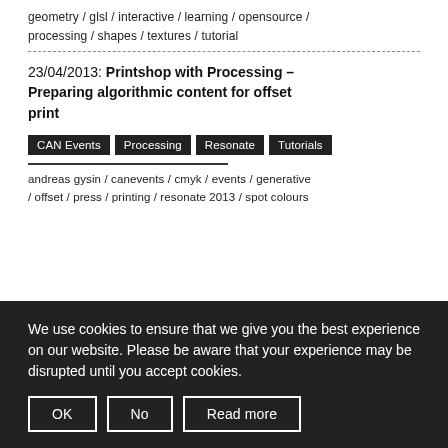geometry / glsl / interactive / learning / opensource / processing / shapes / textures / tutorial
23/04/2013: Printshop with Processing – Preparing algorithmic content for offset print
CAN Events
Processing
Resonate
Tutorials
andreas gysin / canevents / cmyk / events / generative / offset / press / printing / resonate 2013 / spot colours
We use cookies to ensure that we give you the best experience on our website. Please be aware that your experience may be disrupted until you accept cookies.
OK
No
Read more